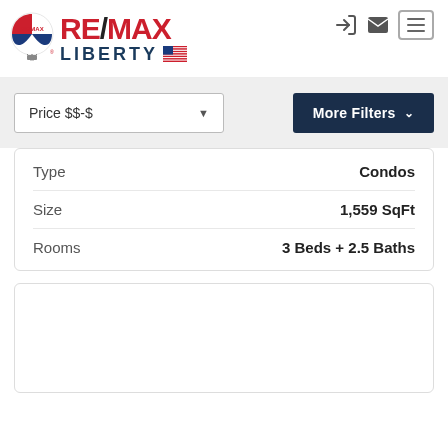[Figure (logo): RE/MAX Liberty logo with red and blue balloon icon and text]
Price $$-$
More Filters
|  |  |
| --- | --- |
| Type | Condos |
| Size | 1,559 SqFt |
| Rooms | 3 Beds + 2.5 Baths |